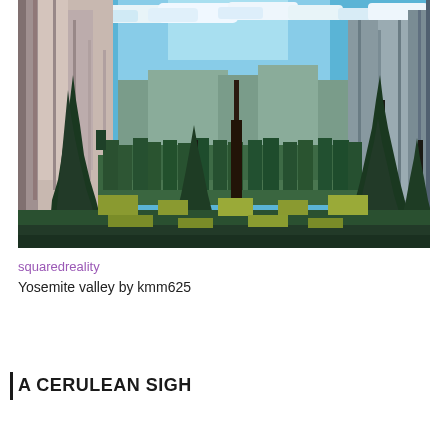[Figure (illustration): Pixel art / stylized painting of Yosemite Valley showing tall granite cliffs on the left, a wide valley filled with pine and fir trees in the center and foreground, blue sky with white clouds above, and distant mountains in the background. The style is reminiscent of a retro video game or cross-stitch art with visible block-like pixels.]
squaredreality
Yosemite valley by kmm625
A CERULEAN SIGH